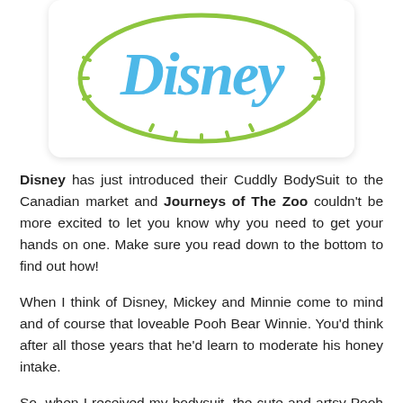[Figure (logo): Disney logo: blue cursive Disney wordmark inside a green oval/circle outline with dashed tick marks, on white rounded-rectangle card background]
Disney has just introduced their Cuddly BodySuit to the Canadian market and Journeys of The Zoo couldn't be more excited to let you know why you need to get your hands on one. Make sure you read down to the bottom to find out how!

When I think of Disney, Mickey and Minnie come to mind and of course that loveable Pooh Bear Winnie. You'd think after all those years that he'd learn to moderate his honey intake.

So, when I received my bodysuit, the cute and artsy Pooh Bear on the front captured my eye immediately. My girlfriend